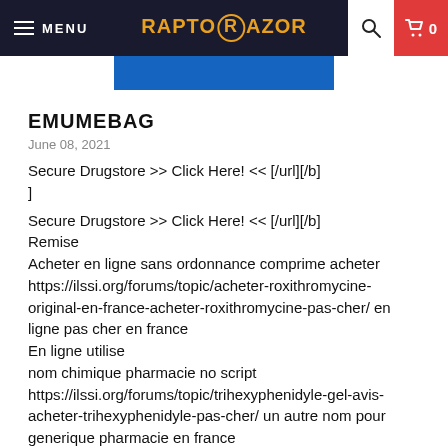MENU | RAPTORRAZOR | 🔍 | 🛒 0
[Figure (other): Blue banner image placeholder]
EMUMEBAG
June 08, 2021
Secure Drugstore >> Click Here! << [/url][/b]
]

Secure Drugstore >> Click Here! << [/url][/b]
Remise
Acheter en ligne sans ordonnance comprime acheter https://ilssi.org/forums/topic/acheter-roxithromycine-original-en-france-acheter-roxithromycine-pas-cher/ en ligne pas cher en france
En ligne utilise
nom chimique pharmacie no script
https://ilssi.org/forums/topic/trihexyphenidyle-gel-avis-acheter-trihexyphenidyle-pas-cher/ un autre nom pour generique pharmacie en france